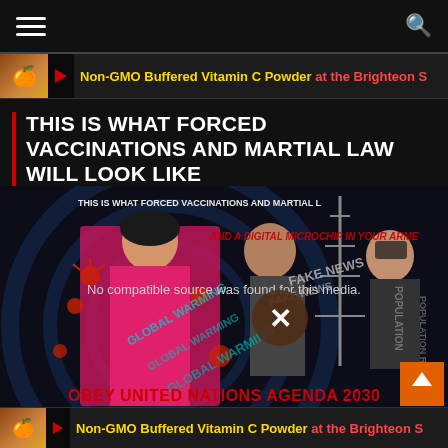Navigation bar with hamburger menu and search icon
[Figure (screenshot): Banner advertisement strip: orange emoji icon, play button, text 'Non-GMO Buffered Vitamin C Powder at the Brighteon S']
THIS IS WHAT FORCED VACCINATIONS AND MARTIAL LAW WILL LOOK LIKE
[Figure (screenshot): Video player showing conspiracy theory collage image with text overlays: 'THIS IS WHAT FORCED VACCINATIONS AND MARTIAL LAW' and 'AND A DIGITAL MICROCHIP IN YOUR ARME', 'FAKE NEWS' repeated, 'GLOBAL WARMING' repeated, 'OBEY UNITED NATIONS AGENDA 2030', 'POPULATION REDUCTION' partially visible. Shows girl in pink jacket, elderly man, and Bill Gates. Large X button overlay and 'No compatible source was found for this media.' message. Orange scroll-up button bottom right.]
[Figure (screenshot): Bottom banner advertisement: orange emoji icon, play button, text 'Non-GMO Buffered Vitamin C Powder at the Brighteon S']